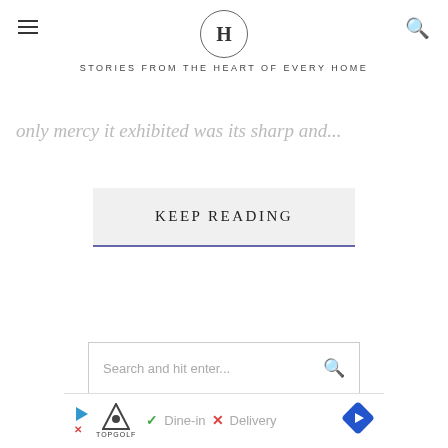H — STORIES FROM THE HEART OF EVERY HOME
only mercy it exhibited was its sharp and...
KEEP READING
Search and hit enter...
[Figure (screenshot): Advertisement banner for TopGolf showing Dine-in and Delivery options with check and X marks]